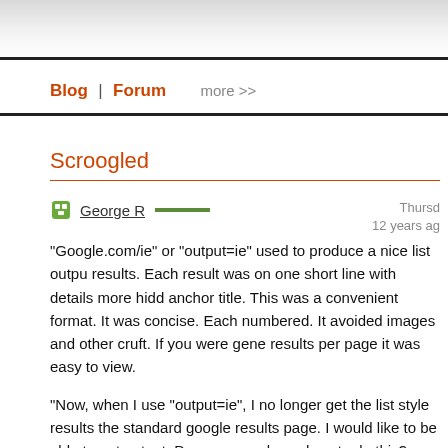Blog | Forum   more >>
Scroogled
George R   Thursday 12 years ago
"Google.com/ie" or "output=ie" used to produce a nice list output of results. Each result was on one short line with details more hidden in the anchor title. This was a convenient format. It was concise. Each result was numbered. It avoided images and other cruft. If you were generating 100 results per page it was easy to view.
Now, when I use "output=ie", I no longer get the list style results. I get the standard google results page. I would like to be able to get the IE output. Does anyone know how to do this?